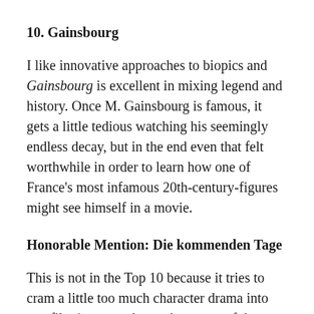10. Gainsbourg
I like innovative approaches to biopics and Gainsbourg is excellent in mixing legend and history. Once M. Gainsbourg is famous, it gets a little tedious watching his seemingly endless decay, but in the end even that felt worthwhile in order to learn how one of France's most infamous 20th-century-figures might see himself in a movie.
Honorable Mention: Die kommenden Tage
This is not in the Top 10 because it tries to cram a little too much character drama into one film in a way that makes some of the characters unbelievable in the end. But a near-future dystopia from Germany that successfully taps into a lot of the fears which haunt our times, combined with some of the